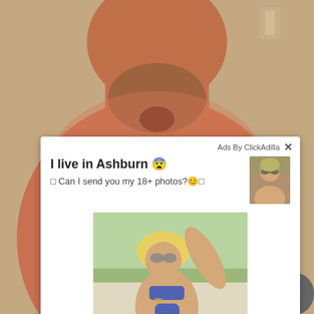[Figure (photo): Background photo of a shirtless man from chest/neck up, skin appears tanned/sunburned, with stubble beard. Behind him is a light-colored wall with some items.]
[Figure (screenshot): Ad overlay popup from ClickAdilla. Contains text 'I live in Ashburn' with emoji, 'Can I send you my 18+ photos?' with emoji, a thumbnail photo of a woman in the upper right, and a large photo of a blonde woman in a blue bikini posing outdoors. Timestamp shows '2md'.]
Ads By ClickAdilla
I live in Ashburn 😨
🔲 Can I send you my 18+ photos?😊🔲
2md